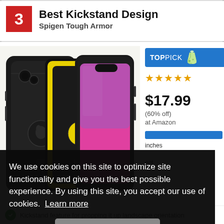3 Best Kickstand Design Spigen Tough Armor
[Figure (photo): Two Spigen Tough Armor phone cases for iPhone 11, one black and one yellow, showing the kickstand feature on the back]
[Figure (logo): TOP PICK badge with lab flask icon]
★★★★★
$17.99
(60% off)
at Amazon
We use cookies on this site to optimize site functionality and give you the best possible experience. By using this site, you accept our use of cookies. Learn more
Got it!
inches
ent
Kickstand feature for propping it up landscape orientation